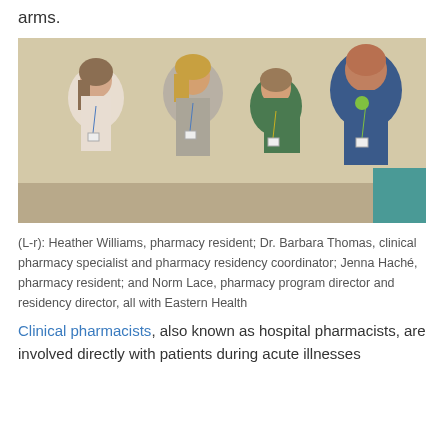arms.
[Figure (photo): Four people standing against a wall, each wearing lanyards/badges. Group photo of pharmacy staff at Eastern Health.]
(L-r): Heather Williams, pharmacy resident; Dr. Barbara Thomas, clinical pharmacy specialist and pharmacy residency coordinator; Jenna Haché, pharmacy resident; and Norm Lace, pharmacy program director and residency director, all with Eastern Health
Clinical pharmacists, also known as hospital pharmacists, are involved directly with patients during acute illnesses